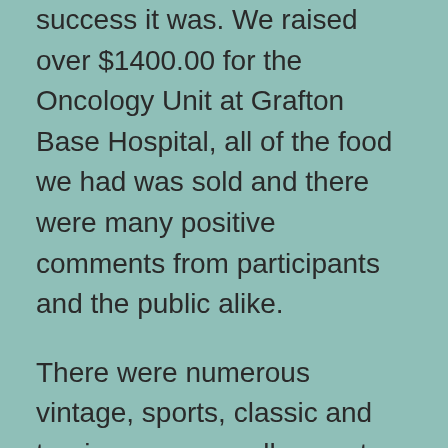success it was. We raised over $1400.00 for the Oncology Unit at Grafton Base Hospital, all of the food we had was sold and there were many positive comments from participants and the public alike.
There were numerous vintage, sports, classic and touring cars as well as motor cycles, racing cars, stationary engines and model aircraft on display.
Some 22 aircraft flew in to add to the 15 of our own aircraft on display. There were plenty of Jabirus, several Savannahs, a Piper Sport, a Bush cat, a Thorne, a Foxbat, 2 x Cessna...